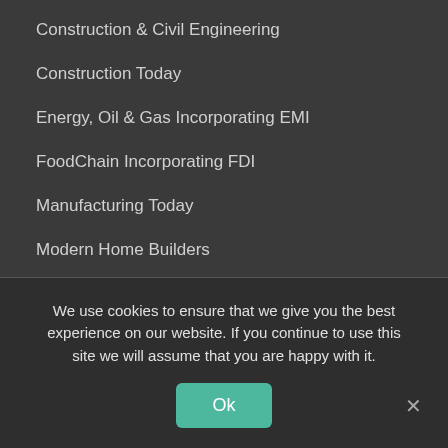Construction & Civil Engineering
Construction Today
Energy, Oil & Gas Incorporating EMI
FoodChain Incorporating FDI
Manufacturing Today
Modern Home Builders
Retail Merchandiser
Supply Chain World
Transportation & Logistics International
Information
We use cookies to ensure that we give you the best experience on our website. If you continue to use this site we will assume that you are happy with it.